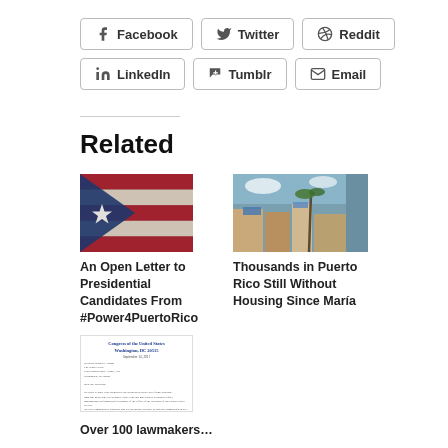Facebook
Twitter
Reddit
LinkedIn
Tumblr
Email
Related
[Figure (photo): Puerto Rico flag — distressed style with blue triangle, white star, and red/white stripes]
An Open Letter to Presidential Candidates From #Power4PuertoRico
[Figure (photo): Aerial view of Puerto Rico neighborhood with rooftops and palm trees after hurricane damage]
Thousands in Puerto Rico Still Without Housing Since María
[Figure (screenshot): Image of a Congress of the United States letter]
Over 100 lawmakers…